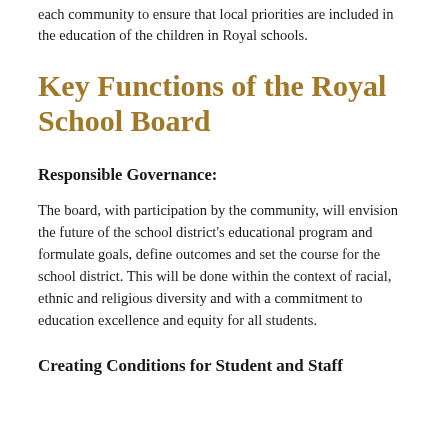Serving as an elected representative on behalf of the people of each community to ensure that local priorities are included in the education of the children in Royal schools.
Key Functions of the Royal School Board
Responsible Governance:
The board, with participation by the community, will envision the future of the school district's educational program and formulate goals, define outcomes and set the course for the school district. This will be done within the context of racial, ethnic and religious diversity and with a commitment to education excellence and equity for all students.
Creating Conditions for Student and Staff